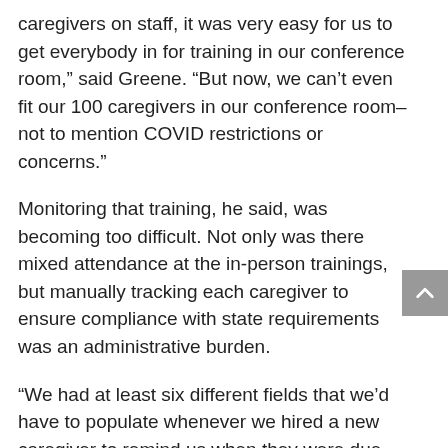caregivers on staff, it was very easy for us to get everybody in for training in our conference room,” said Greene. “But now, we can’t even fit our 100 caregivers in our conference room–not to mention COVID restrictions or concerns.”
Monitoring that training, he said, was becoming too difficult. Not only was there mixed attendance at the in-person trainings, but manually tracking each caregiver to ensure compliance with state requirements was an administrative burden.
“We had at least six different fields that we’d have to populate whenever we hired a new caregiver to remind us when they were due for particular education throughout the year,” Greene said.